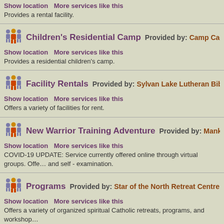Show location   More services like this
Provides a rental facility.
Children's Residential Camp   Provided by: Camp Cadicas
Show location   More services like this
Provides a residential children's camp.
Facility Rentals   Provided by: Sylvan Lake Lutheran Bible Ca…
Show location   More services like this
Offers a variety of facilities for rent.
New Warrior Training Adventure   Provided by: Mankind
Show location   More services like this
COVID-19 UPDATE: Service currently offered online through virtual groups. Offe… and self - examination.
Programs   Provided by: Star of the North Retreat Centre
Show location   More services like this
Offers a variety of organized spiritual Catholic retreats, programs, and workshop…